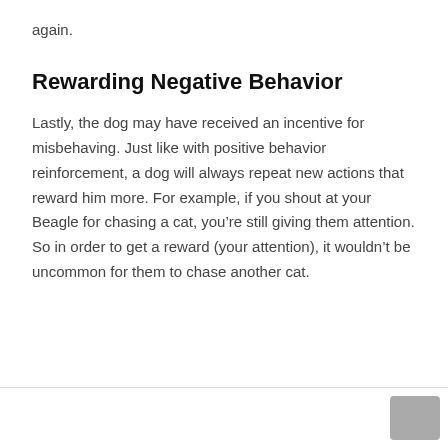again.
Rewarding Negative Behavior
Lastly, the dog may have received an incentive for misbehaving. Just like with positive behavior reinforcement, a dog will always repeat new actions that reward him more. For example, if you shout at your Beagle for chasing a cat, you’re still giving them attention. So in order to get a reward (your attention), it wouldn’t be uncommon for them to chase another cat.